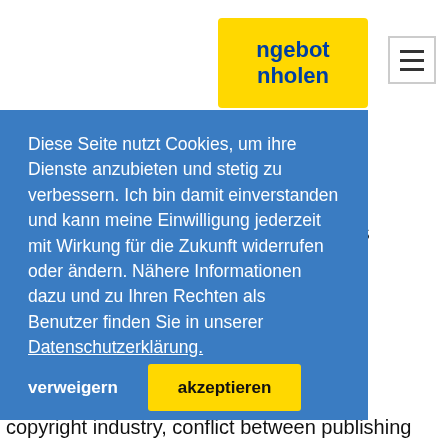[Figure (screenshot): Yellow navigation button showing 'ngebot' and 'nholen' (partially visible) and hamburger menu icon in top-right corner of webpage]
e and judicial
e copyright
rt Four analyzes
ght protection in
olitical factors,
ral tradition of
ght and political
on; the influence
ation' and
olicy? on the
n administration
ministration; (2)
s, including the
Diese Seite nutzt Cookies, um ihre Dienste anzubieten und stetig zu verbessern. Ich bin damit einverstanden und kann meine Einwilligung jederzeit mit Wirkung für die Zukunft widerrufen oder ändern. Nähere Informationen dazu und zu Ihren Rechten als Benutzer finden Sie in unserer Datenschutzerklärung.
verweigern
akzeptieren
copyright industry, conflict between publishing